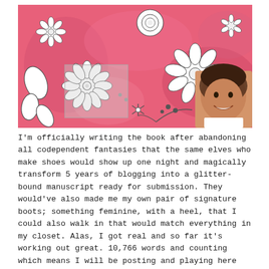[Figure (photo): A pink floral wall mural with white and dark outlined flowers, and a woman with dark hair smiling in the bottom right corner.]
I'm officially writing the book after abandoning all codependent fantasies that the same elves who make shoes would show up one night and magically transform 5 years of blogging into a glitter-bound manuscript ready for submission. They would've also made me my own pair of signature boots; something feminine, with a heel, that I could also walk in that would match everything in my closet. Alas, I got real and so far it's working out great. 10,766 words and counting which means I will be posting and playing here much less. Less, but not never since I can't write the book on lunch breaks because we can only afford one subscription to Word and this site lives in my phone. I promise to visit.